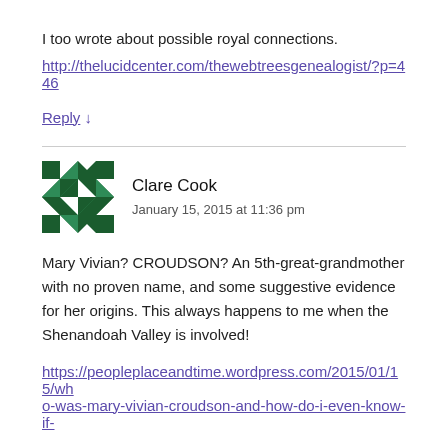I too wrote about possible royal connections.
http://thelucidcenter.com/thewebtreesgenealogist/?p=446
Reply ↓
Clare Cook
January 15, 2015 at 11:36 pm
Mary Vivian? CROUDSON? An 5th-great-grandmother with no proven name, and some suggestive evidence for her origins. This always happens to me when the Shenandoah Valley is involved!
https://peopleplaceandtime.wordpress.com/2015/01/15/who-was-mary-vivian-croudson-and-how-do-i-even-know-if-